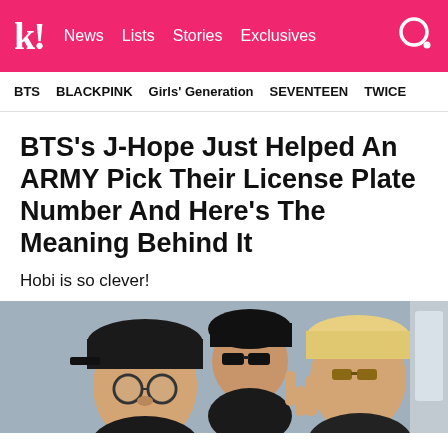k! News Lists Stories Exclusives
BTS  BLACKPINK  Girls' Generation  SEVENTEEN  TWICE
BTS's J-Hope Just Helped An ARMY Pick Their License Plate Number And Here's The Meaning Behind It
Hobi is so clever!
[Figure (photo): Photo of BTS members including J-Hope sitting in a car, taking a selfie. Three people visible, one wearing round glasses and black cap, another in sunglasses, third with blonde hair and sunglasses.]